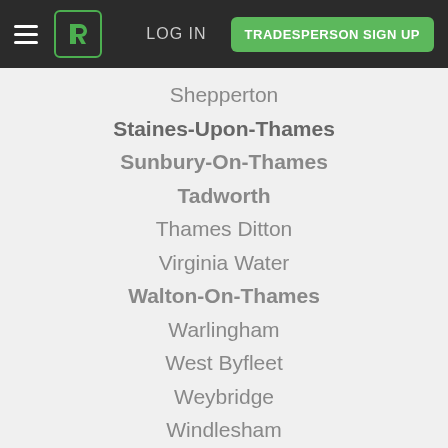LOG IN  TRADESPERSON SIGN UP
Shepperton
Staines-Upon-Thames
Sunbury-On-Thames
Tadworth
Thames Ditton
Virginia Water
Walton-On-Thames
Warlingham
West Byfleet
Weybridge
Windlesham
Woking
Recently completed jobs
Here's what's been happening in and around your area
Recarpeting staircase
I need to replace old carpet on my staircase (straight 13 steps) and landing ca. 2.4 x 2.5m. Based in Ashford Surrey. I'm looking